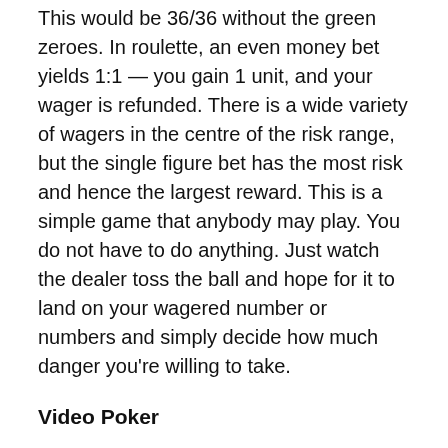This would be 36/36 without the green zeroes. In roulette, an even money bet yields 1:1 — you gain 1 unit, and your wager is refunded. There is a wide variety of wagers in the centre of the risk range, but the single figure bet has the most risk and hence the largest reward. This is a simple game that anybody may play. You do not have to do anything. Just watch the dealer toss the ball and hope for it to land on your wagered number or numbers and simply decide how much danger you're willing to take.
Video Poker
When it comes to the mechanics of gambling, video poker is a breeze to play. There are as many different strategies as there are different types of online poker games. You must first select a game and then play it utilising the best strategy for that game. The easiest game to learn is Jacks or Better and is also the simplest